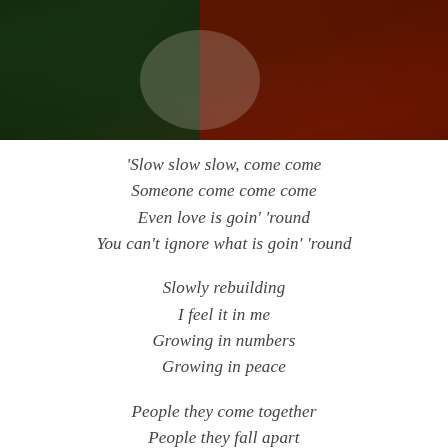[Figure (photo): Dark photograph showing people wearing green and red clothing, partially visible at the top of the page]
'Slow slow slow, come come
Someone come come come
Even love is goin' 'round
You can't ignore what is goin' 'round

Slowly rebuilding
I feel it in me
Growing in numbers
Growing in peace

People they come together
People they fall apart

No one can stop us now